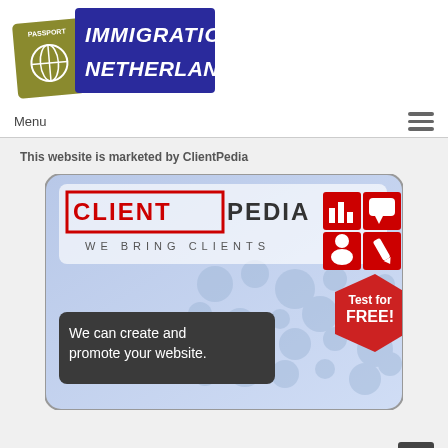[Figure (logo): Immigration Netherlands logo with passport icon and blue banner]
Menu
This website is marketed by ClientPedia
[Figure (illustration): ClientPedia advertisement banner: 'We Bring Clients', 'We can create and promote your website.', 'Test for FREE!']